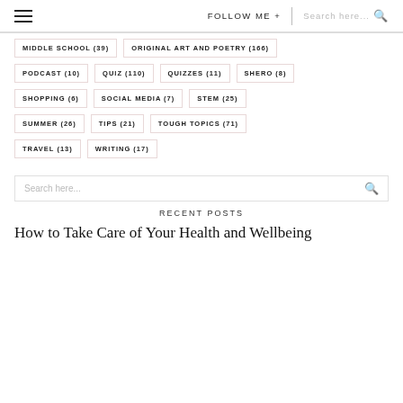≡  FOLLOW ME +  Search here...
MIDDLE SCHOOL (39)
ORIGINAL ART AND POETRY (166)
PODCAST (10)
QUIZ (110)
QUIZZES (11)
SHERO (8)
SHOPPING (6)
SOCIAL MEDIA (7)
STEM (25)
SUMMER (26)
TIPS (21)
TOUGH TOPICS (71)
TRAVEL (13)
WRITING (17)
RECENT POSTS
How to Take Care of Your Health and Wellbeing